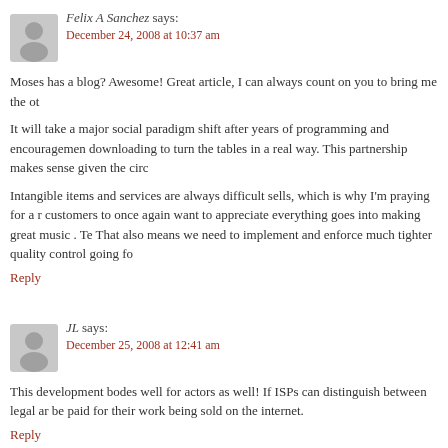Felix A Sanchez says:
December 24, 2008 at 10:37 am
Moses has a blog? Awesome! Great article, I can always count on you to bring me the ot
It will take a major social paradigm shift after years of programming and encouragemen downloading to turn the tables in a real way. This partnership makes sense given the circ
Intangible items and services are always difficult sells, which is why I'm praying for a r customers to once again want to appreciate everything goes into making great music . Te That also means we need to implement and enforce much tighter quality control going fo
Reply
JL says:
December 25, 2008 at 12:41 am
This development bodes well for actors as well! If ISPs can distinguish between legal ar be paid for their work being sold on the internet.
Reply
Jeoy says: